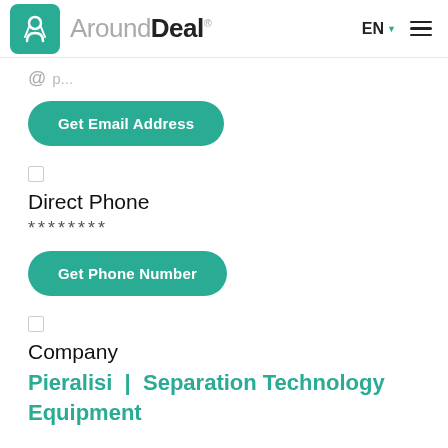[Figure (logo): AroundDeal logo with teal icon box and brand name, EN language selector and hamburger menu on right]
@ [masked email]
Get Email Address
Direct Phone
********
Get Phone Number
Company
Pieralisi  |  Separation Technology Equipment